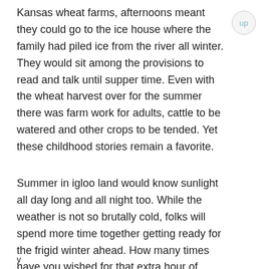Kansas wheat farms, afternoons meant they could go to the ice house where the family had piled ice from the river all winter. They would sit among the provisions to read and talk until supper time. Even with the wheat harvest over for the summer there was farm work for adults, cattle to be watered and other crops to be tended. Yet these childhood stories remain a favorite.
Summer in igloo land would know sunlight all day long and all night too. While the weather is not so brutally cold, folks will spend more time together getting ready for the frigid winter ahead. How many times have you wished for that extra hour of
v